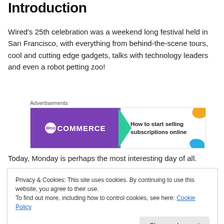Introduction
Wired's 25th celebration was a weekend long festival held in San Francisco, with everything from behind-the-scene tours, cool and cutting edge gadgets, talks with technology leaders and even a robot petting zoo!
[Figure (other): WooCommerce advertisement banner: purple left section with WooCommerce logo, green arrow pointing right, white right section with text 'How to start selling subscriptions online', orange and blue decorative shapes]
Today, Monday is perhaps the most interesting day of all.
Wired's all day summit today is currently in progress with
Privacy & Cookies: This site uses cookies. By continuing to use this website, you agree to their use.
To find out more, including how to control cookies, see here: Cookie Policy